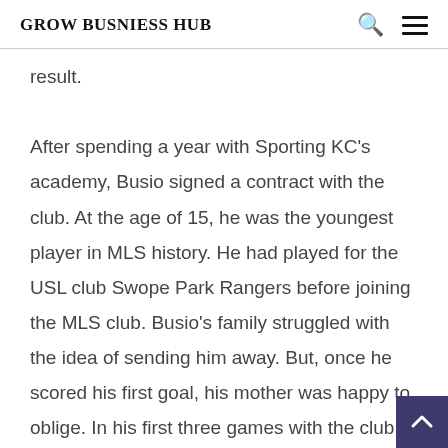GROW BUSNIESS HUB
result.

After spending a year with Sporting KC's academy, Busio signed a contract with the club. At the age of 15, he was the youngest player in MLS history. He had played for the USL club Swope Park Rangers before joining the MLS club. Busio's family struggled with the idea of sending him away. But, once he scored his first goal, his mother was happy to oblige. In his first three games with the club, he